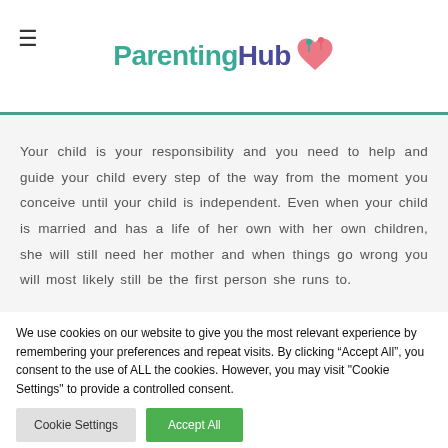ParentingHub
Your child is your responsibility and you need to help and guide your child every step of the way from the moment you conceive until your child is independent. Even when your child is married and has a life of her own with her own children, she will still need her mother and when things go wrong you will most likely still be the first person she runs to.
We use cookies on our website to give you the most relevant experience by remembering your preferences and repeat visits. By clicking “Accept All”, you consent to the use of ALL the cookies. However, you may visit "Cookie Settings" to provide a controlled consent.